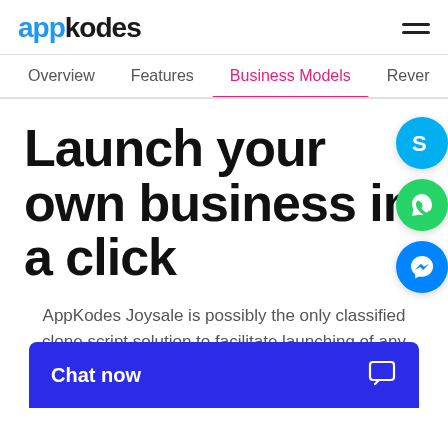appkodes
Overview   Features   Business Models   Rever
Launch your own business in a click
AppKodes Joysale is possibly the only classified clone script solution to facilitate launching of any business model that has online ads as its base like auction, eCommerce, B2... and pet ...
Chat now